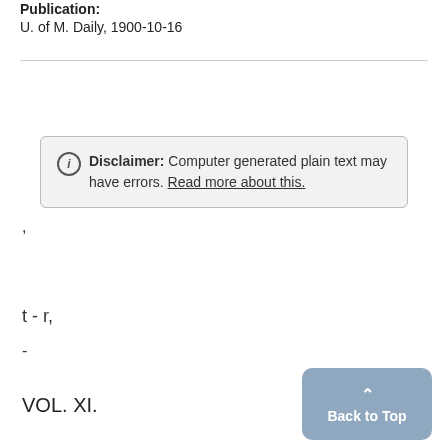Publication: U. of M. Daily, 1900-10-16
Disclaimer: Computer generated plain text may have errors. Read more about this.
,
t - r,
-
VOL. XI.
Back to Top